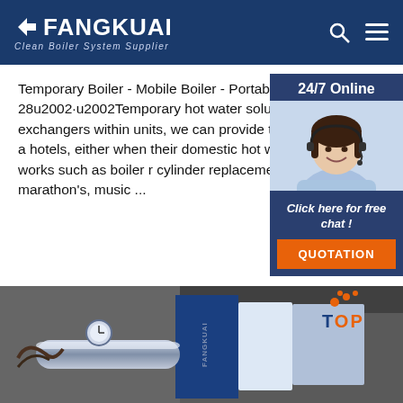FANGKUAI Clean Boiler System Supplier
Temporary Boiler - Mobile Boiler - Portable Boiler 2021-9-28u2002·u2002Temporary hot water solution Boiler. By utilising plate heat exchangers within units, we can provide temporary domestic hot w for a hotels, either when their domestic hot wat failed or when renovation works such as boiler cylinder replacement is being carried out, sport marathon's, music ...
[Figure (photo): 24/7 Online customer service representative with headset, smiling. Below: 'Click here for free chat!' and QUOTATION button.]
Get Price
[Figure (photo): Industrial boiler equipment photo showing pipes, gauges, blue and white boiler panels with FANGKUAI branding. TOP badge in upper right corner.]